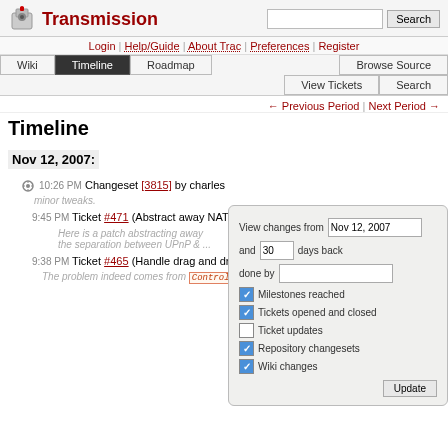Transmission
Login | Help/Guide | About Trac | Preferences | Register
Wiki | Timeline | Roadmap | Browse Source | View Tickets | Search
← Previous Period | Next Period →
Timeline
Nov 12, 2007:
10:26 PM Changeset [3815] by charles
minor tweaks.
9:45 PM Ticket #471 (Abstract away NAT Traversal stuff) created by tiennou
Here is a patch abstracting away the separation between UPnP & ...
9:38 PM Ticket #465 (Handle drag and drop properly) reopened by nox
The problem indeed comes from Controller draggingEntered: